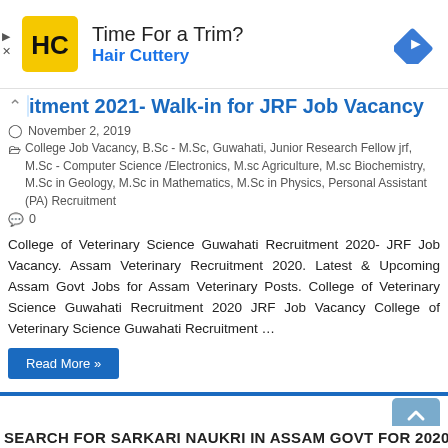[Figure (screenshot): Advertisement banner for Hair Cuttery showing logo, 'Time For a Trim?' headline, 'Hair Cuttery' subtitle in blue, and a navigation arrow icon on the right. Ad controls (play/close) on left side.]
Recruitment 2021- Walk-in for JRF Job Vacancy
November 2, 2019
College Job Vacancy, B.Sc - M.Sc, Guwahati, Junior Research Fellow jrf, M.Sc - Computer Science /Electronics, M.sc Agriculture, M.sc Biochemistry, M.Sc in Geology, M.Sc in Mathematics, M.Sc in Physics, Personal Assistant (PA) Recruitment
0
College of Veterinary Science Guwahati Recruitment 2020- JRF Job Vacancy. Assam Veterinary Recruitment 2020. Latest & Upcoming Assam Govt Jobs for Assam Veterinary Posts. College of Veterinary Science Guwahati Recruitment 2020 JRF Job Vacancy College of Veterinary Science Guwahati Recruitment …
Read More »
SEARCH FOR SARKARI NAUKRI IN ASSAM GOVT FOR 2020